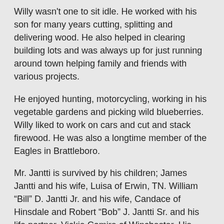Willy wasn't one to sit idle. He worked with his son for many years cutting, splitting and delivering wood. He also helped in clearing building lots and was always up for just running around town helping family and friends with various projects.
He enjoyed hunting, motorcycling, working in his vegetable gardens and picking wild blueberries. Willy liked to work on cars and cut and stack firewood. He was also a longtime member of the Eagles in Brattleboro.
Mr. Jantti is survived by his children; James Jantti and his wife, Luisa of Erwin, TN. William “Bill” D. Jantti Jr. and his wife, Candace of Hinsdale and Robert “Bob” J. Jantti Sr. and his life partner, Vickie Comire of Winchester. His siblings; Gertrude LaBarre of Lakeland, FL. Jane Ward of West Swanzey, Phyllis Alexander of West Swanzey, Ruth Lechlinder of Marlboro, Sonja Parton of Winchester, and